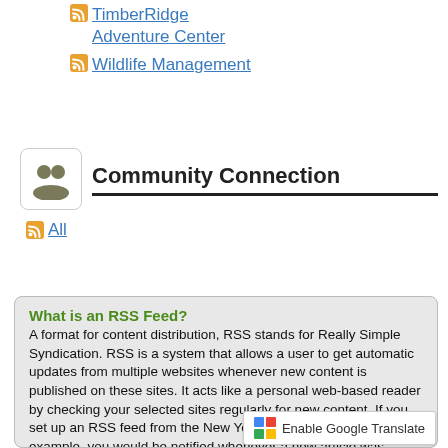TimberRidge Adventure Center
Wildlife Management
Community Connection
All
What is an RSS Feed?
A format for content distribution, RSS stands for Really Simple Syndication. RSS is a system that allows a user to get automatic updates from multiple websites whenever new content is published on these sites. It acts like a personal web-based reader by checking your selected sites regularly for new content. If you set up an RSS feed from the New York Times Sports section, for example, you would be notified whenever a new article was posted. The notification takes place in an RSS Reader.
How do I start using RSS Feeds?
To use a site's RSS feature, an RSS reader is required.
1. Choose an RSS reader. An internet search will return many options. Some readers are web-bas…